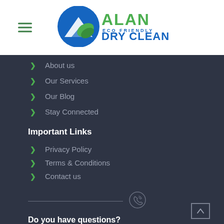Alan Eco Friendly Dry Cleaners — navigation header with logo
About us
Our Services
Our Blog
Stay Connected
Important Links
Privacy Policy
Terms & Conditions
Contact us
Do you have questions?
Contact us